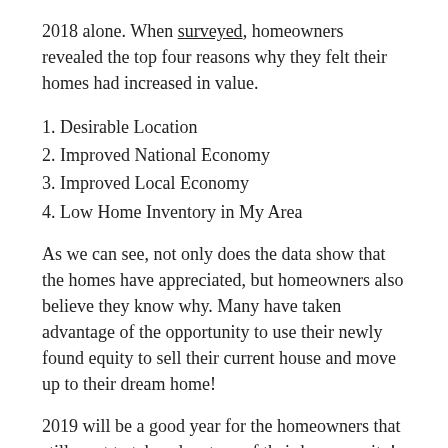2018 alone. When surveyed, homeowners revealed the top four reasons why they felt their homes had increased in value.
1. Desirable Location
2. Improved National Economy
3. Improved Local Economy
4. Low Home Inventory in My Area
As we can see, not only does the data show that the homes have appreciated, but homeowners also believe they know why. Many have taken advantage of the opportunity to use their newly found equity to sell their current house and move up to their dream home!
2019 will be a good year for the homeowners that still want to take advantage of their home equity! CoreLogic forecasts that home prices will